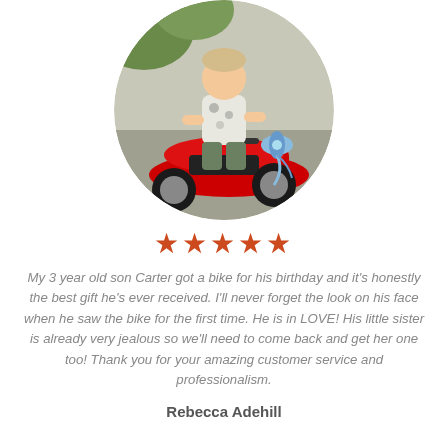[Figure (photo): Circular cropped photo of a young child sitting on a red sport motorcycle outdoors]
★★★★★
My 3 year old son Carter got a bike for his birthday and it's honestly the best gift he's ever received. I'll never forget the look on his face when he saw the bike for the first time. He is in LOVE! His little sister is already very jealous so we'll need to come back and get her one too! Thank you for your amazing customer service and professionalism.
Rebecca Adehill